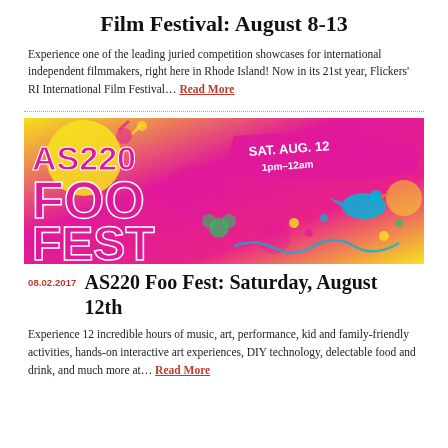Film Festival: August 8-13
Experience one of the leading juried competition showcases for international independent filmmakers, right here in Rhode Island! Now in its 21st year, Flickers' RI International Film Festival… Read More
[Figure (illustration): Colorful promotional banner for AS220 Foo Fest showing bold graphic text 'AS220 FOO FEST' in pink and red with yellow, featuring a bird and decorative elements, and text 'SAT AUG 12 1pm-12am' on a ribbon banner.]
AS220 Foo Fest: Saturday, August 12th
Experience 12 incredible hours of music, art, performance, kid and family-friendly activities, hands-on interactive art experiences, DIY technology, delectable food and drink, and much more at… Read More